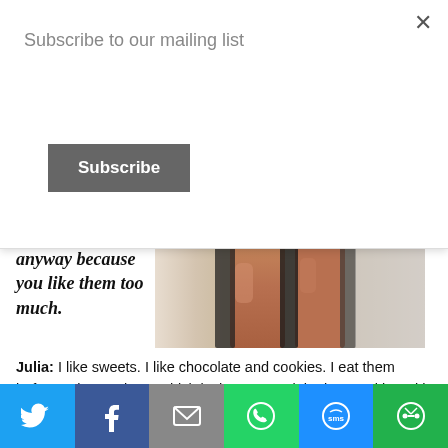Subscribe to our mailing list
Subscribe
anyway because you like them too much.
[Figure (photo): Close-up photo of a woman's legs wearing a sheer dark overlay skirt or dress against a light background]
Julia: I like sweets. I like chocolate and cookies. I eat them before going to sleep, which is the worst. Night time cookies with hot tea and honey. I am trying to escape this desire, but sometimes it is really intense.
Urbasm: Do you bake your own sweets?
[Figure (infographic): Social sharing bar with Twitter, Facebook, Email, WhatsApp, SMS, and other sharing icons]